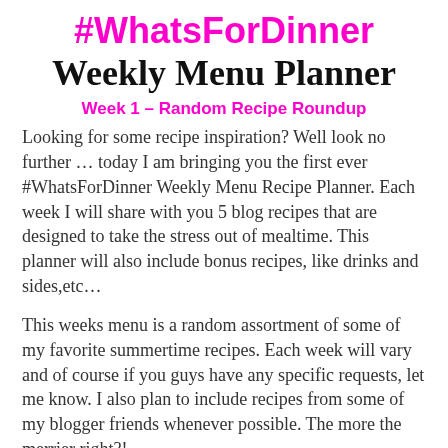#WhatsForDinner
Weekly Menu Planner
Week 1 – Random Recipe Roundup
Looking for some recipe inspiration? Well look no further … today I am bringing you the first ever #WhatsForDinner Weekly Menu Recipe Planner.  Each week I will share with you 5 blog recipes that are designed to take the stress out of mealtime. This planner will also include bonus recipes, like drinks and sides,etc…
This weeks menu is a random assortment of some of my favorite summertime recipes. Each week will vary and of course if you guys have any specific requests, let me know. I also plan to include recipes from some of my blogger friends whenever possible.  The more the merrier right?!